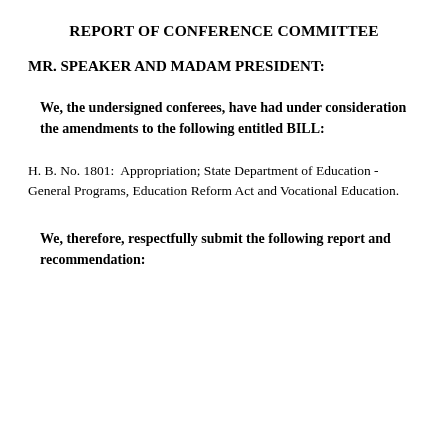REPORT OF CONFERENCE COMMITTEE
MR. SPEAKER AND MADAM PRESIDENT:
We, the undersigned conferees, have had under consideration the amendments to the following entitled BILL:
H. B. No. 1801:  Appropriation; State Department of Education - General Programs, Education Reform Act and Vocational Education.
We, therefore, respectfully submit the following report and recommendation: